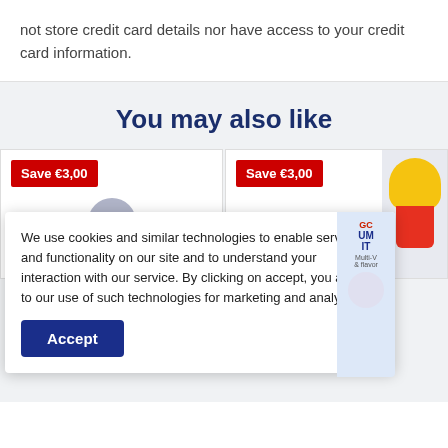not store credit card details nor have access to your credit card information.
You may also like
[Figure (screenshot): Two product cards each showing a red 'Save €3,00' badge, with product images below]
We use cookies and similar technologies to enable services and functionality on our site and to understand your interaction with our service. By clicking on accept, you agree to our use of such technologies for marketing and analytics.
Accept